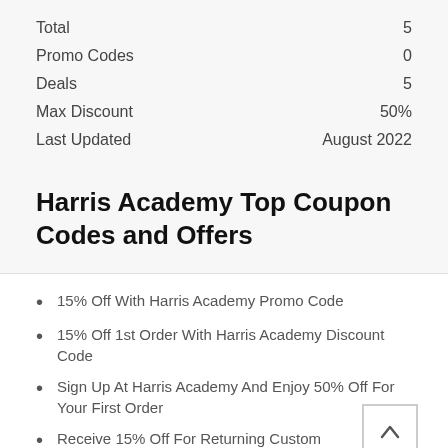Total 5
Promo Codes 0
Deals 5
Max Discount 50%
Last Updated August 2022
Harris Academy Top Coupon Codes and Offers
15% Off With Harris Academy Promo Code
15% Off 1st Order With Harris Academy Discount Code
Sign Up At Harris Academy And Enjoy 50% Off For Your First Order
Receive 15% Off For Returning Customers
Take 25% Off Select Items With Coupon Code + Free Shipping